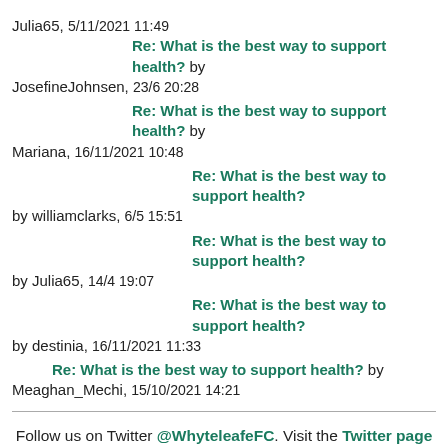Julia65, 5/11/2021 11:49 Re: What is the best way to support health? by JosefineJohnsen, 23/6 20:28
Re: What is the best way to support health? by Mariana, 16/11/2021 10:48
Re: What is the best way to support health? by williamclarks, 6/5 15:51
Re: What is the best way to support health? by Julia65, 14/4 19:07
Re: What is the best way to support health? by destinia, 16/11/2021 11:33
Re: What is the best way to support health? by Meaghan_Mechi, 15/10/2021 14:21
Follow us on Twitter @WhyteleafeFC. Visit the Twitter page for the full picture.
Forums.Football Web Pages.co.uk